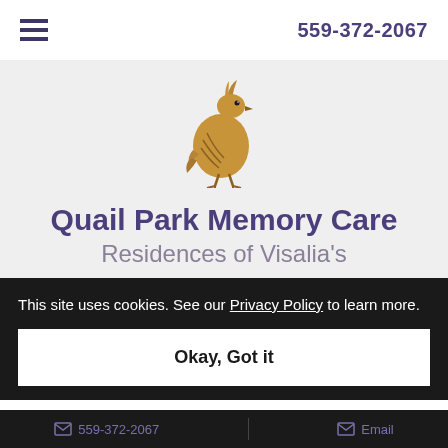559-372-2067
[Figure (illustration): A golden-brown quail bird illustration, facing right, with a distinctive head plume]
Quail Park Memory Care
Residences of Visalia's
This site uses cookies. See our Privacy Policy to learn more.
Okay, Got it
559-372-2067  Email